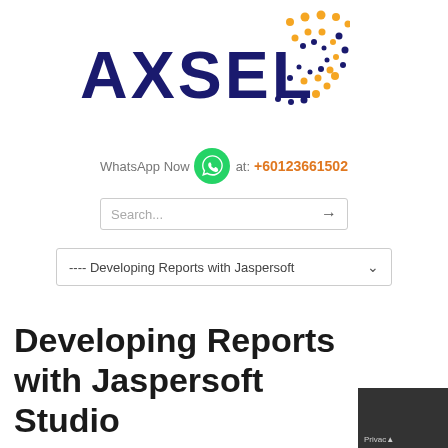[Figure (logo): AXSEL logo with dark blue bold text and colorful dot pattern radiating to the right in orange and dark blue colors]
WhatsApp Now at: +60123661502
Search...
---- Developing Reports with Jaspersoft
Developing Reports with Jaspersoft Studio